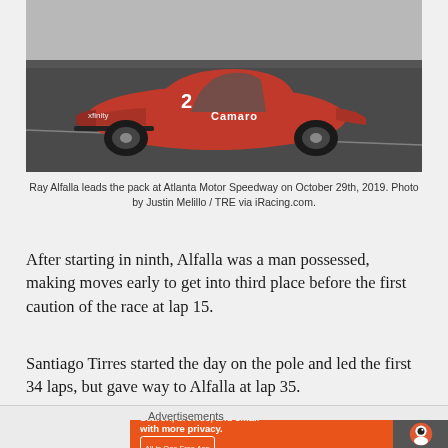[Figure (photo): Red Camaro NASCAR race car leading the pack on a banked track at Atlanta Motor Speedway, photographed from a low angle showing the car's front and side.]
Ray Alfalla leads the pack at Atlanta Motor Speedway on October 29th, 2019. Photo by Justin Melillo / TRE via iRacing.com.
After starting in ninth, Alfalla was a man possessed, making moves early to get into third place before the first caution of the race at lap 15.
Santiago Tirres started the day on the pole and led the first 34 laps, but gave way to Alfalla at lap 35.
In the middle of a race, fly into the race and find a series...
Advertisements